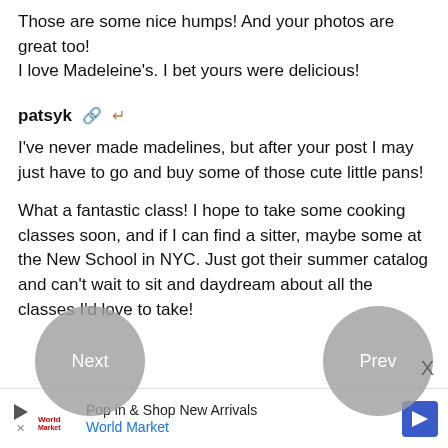Those are some nice humps! And your photos are great too!
I love Madeleine's. I bet yours were delicious!
patsyk
I've never made madelines, but after your post I may just have to go and buy some of those cute little pans!
What a fantastic class! I hope to take some cooking classes soon, and if I can find a sitter, maybe some at the New School in NYC. Just got their summer catalog and can't wait to sit and daydream about all the classes I'd love to take!
[Figure (other): Navigation overlay circles: 'Next' on the left and 'Prev' on the right, gray circular buttons]
[Figure (other): Advertisement banner: World Market 'Pop in & Shop New Arrivals' ad with play button, logo, and blue arrow icon]